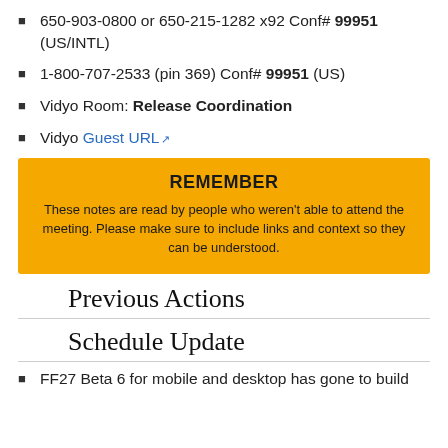650-903-0800 or 650-215-1282 x92 Conf# 99951 (US/INTL)
1-800-707-2533 (pin 369) Conf# 99951 (US)
Vidyo Room: Release Coordination
Vidyo Guest URL
REMEMBER
These notes are read by people who weren't able to attend the meeting. Please make sure to include links and context so they can be understood.
Previous Actions
Schedule Update
FF27 Beta 6 for mobile and desktop has gone to build